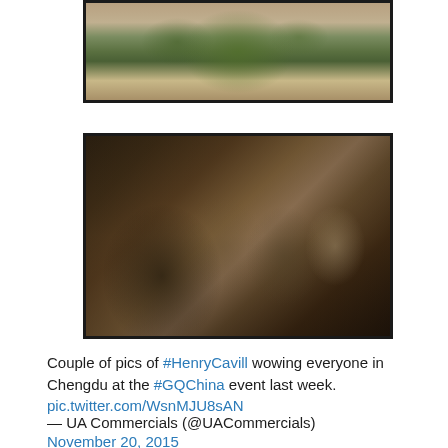[Figure (photo): Partial photo showing a floral arrangement with green plants/leaves in a vase, warm toned background, partially cropped at top]
[Figure (photo): Sepia-toned group photo of several people in formal attire, including a woman and multiple men in suits, at what appears to be a public event in Chengdu, China]
Couple of pics of #HenryCavill wowing everyone in Chengdu at the #GQChina event last week. pic.twitter.com/WsnMJU8sAN — UA Commercials (@UACommercials) November 20, 2015